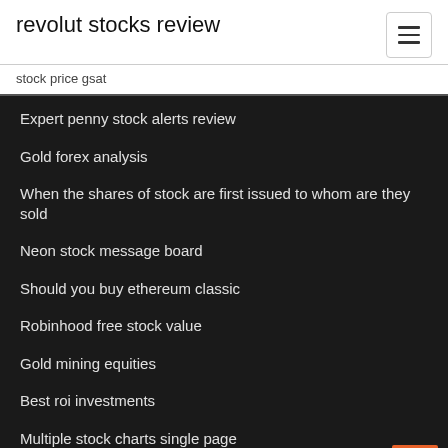revolut stocks review
stock price gsat
Expert penny stock alerts review
Gold forex analysis
When the shares of stock are first issued to whom are they sold
Neon stock message board
Should you buy ethereum classic
Robinhood free stock value
Gold mining equities
Best roi investments
Multiple stock charts single page
Xbt historical prices